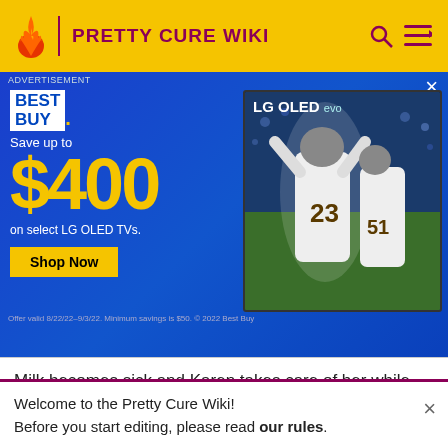PRETTY CURE WIKI
[Figure (screenshot): Best Buy advertisement banner for LG OLED TVs. Blue background with text 'Save up to $400 on select LG OLED TVs. Shop Now.' Shows LG OLED evo TV displaying football players #23 and #51.]
Milk becomes sick and Karen takes care of her while the others set out in search of a special Pinky that will cure Milk.
| # | Episode | Villain | Date |
| --- | --- | --- | --- |
| 35 | "Nattsu no Kagi to Komachi no Kokoro" | Bloody | October 7, 2007 |
Welcome to the Pretty Cure Wiki!
Before you start editing, please read our rules.